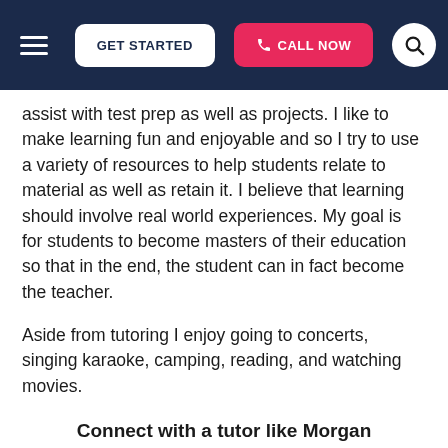GET STARTED | CALL NOW
assist with test prep as well as projects. I like to make learning fun and enjoyable and so I try to use a variety of resources to help students relate to material as well as retain it. I believe that learning should involve real world experiences. My goal is for students to become masters of their education so that in the end, the student can in fact become the teacher.
Aside from tutoring I enjoy going to concerts, singing karaoke, camping, reading, and watching movies.
Connect with a tutor like Morgan